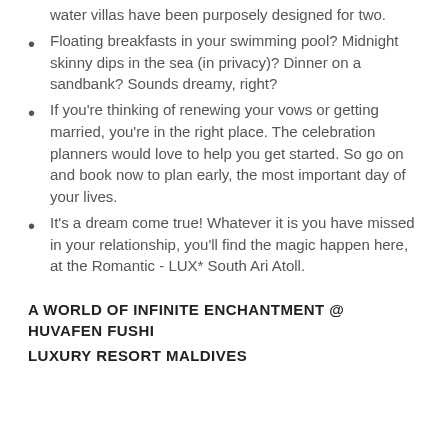water villas have been purposely designed for two.
Floating breakfasts in your swimming pool? Midnight skinny dips in the sea (in privacy)? Dinner on a sandbank? Sounds dreamy, right?
If you're thinking of renewing your vows or getting married, you're in the right place. The celebration planners would love to help you get started. So go on and book now to plan early, the most important day of your lives.
It's a dream come true! Whatever it is you have missed in your relationship, you'll find the magic happen here, at the Romantic - LUX* South Ari Atoll.
A WORLD OF INFINITE ENCHANTMENT @ HUVAFEN FUSHI LUXURY RESORT MALDIVES